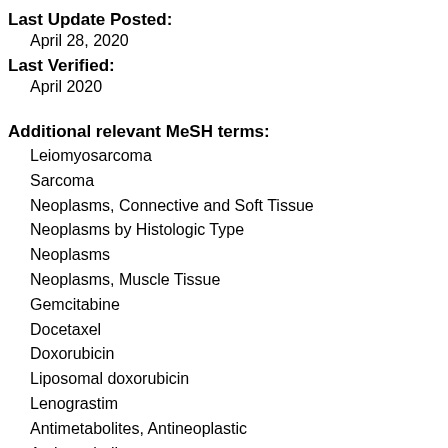Last Update Posted:
April 28, 2020
Last Verified:
April 2020
Additional relevant MeSH terms:
Leiomyosarcoma
Sarcoma
Neoplasms, Connective and Soft Tissue
Neoplasms by Histologic Type
Neoplasms
Neoplasms, Muscle Tissue
Gemcitabine
Docetaxel
Doxorubicin
Liposomal doxorubicin
Lenograstim
Antimetabolites, Antineoplastic
Antimetabolites